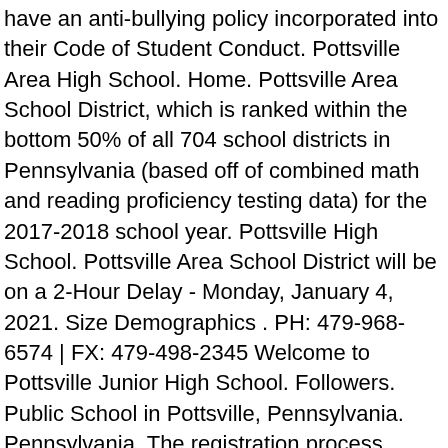have an anti-bullying policy incorporated into their Code of Student Conduct. Pottsville Area High School. Home. Pottsville Area School District, which is ranked within the bottom 50% of all 704 school districts in Pennsylvania (based off of combined math and reading proficiency testing data) for the 2017-2018 school year. Pottsville High School. Pottsville Area School District will be on a 2-Hour Delay - Monday, January 4, 2021. Size Demographics . PH: 479-968-6574 | FX: 479-498-2345 Welcome to Pottsville Junior High School. Followers. Public School in Pottsville, Pennsylvania. Pennsylvania. The registration process starts a year in advance in the fall. Please post any information that parents may have not received from the school. You can reach the official District Facebook page by clicking or tapping here. Just one day before the restrictions began, the Pottsville Area School District ... Pottsville Area School District. October Student of the Month Our ... Basketball - 7-8th - Girls, 6:00 PM Basketball - JV - Girls, 7:00 PM Lady Tide 3 Minersville 2. Views. The Pottsville Area School District will